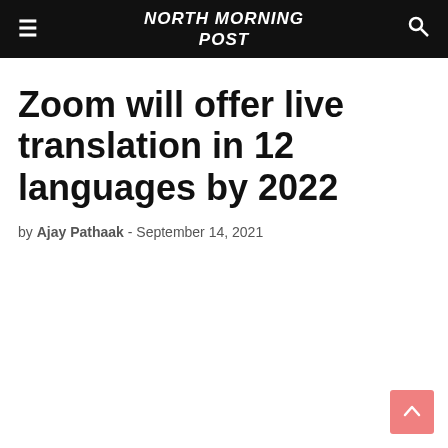NORTH MORNING POST
Zoom will offer live translation in 12 languages by 2022
by Ajay Pathaak - September 14, 2021